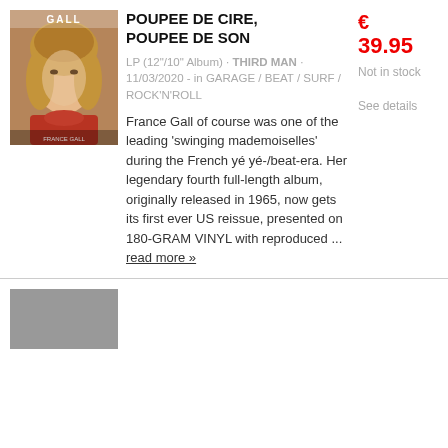[Figure (photo): Album cover for France Gall 'Poupee De Cire, Poupee De Son' showing a young blonde woman in a red top]
POUPEE DE CIRE, POUPEE DE SON
LP (12"/10" Album) · THIRD MAN · 11/03/2020 - in GARAGE / BEAT / SURF / ROCK'N'ROLL
€39.95
Not in stock
See details
France Gall of course was one of the leading 'swinging mademoiselles' during the French yé yé-/beat-era. Her legendary fourth full-length album, originally released in 1965, now gets its first ever US reissue, presented on 180-GRAM VINYL with reproduced ... read more »
[Figure (photo): Thumbnail of another album at the bottom of the page]